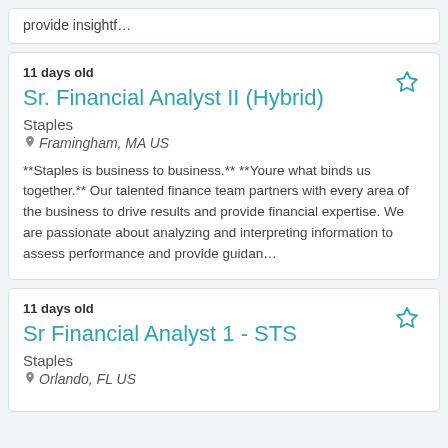provide insightf…
11 days old
Sr. Financial Analyst II (Hybrid)
Staples
Framingham, MA US
**Staples is business to business.** **Youre what binds us together.** Our talented finance team partners with every area of the business to drive results and provide financial expertise. We are passionate about analyzing and interpreting information to assess performance and provide guidan…
11 days old
Sr Financial Analyst 1 - STS
Staples
Orlando, FL US